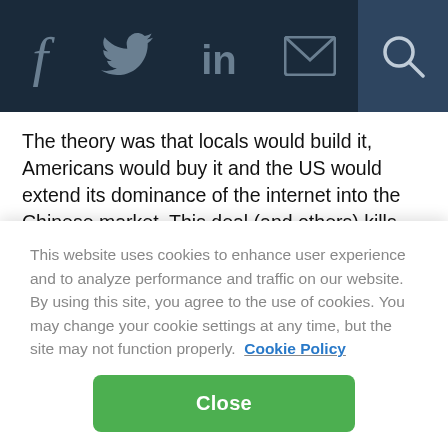Social share bar with icons: Facebook, Twitter, LinkedIn, Email, Search
The theory was that locals would build it, Americans would buy it and the US would extend its dominance of the internet into the Chinese market. This deal (and others) kills this theory and is therefore an important marker in the part to Chinese economic leadership.
Congrats to Demopoulos and the rest at Qunar. This deal – though small in terms of a $6.4 trillion dollar economy –
This website uses cookies to enhance user experience and to analyze performance and traffic on our website. By using this site, you agree to the use of cookies. You may change your cookie settings at any time, but the site may not function properly. Cookie Policy
Close